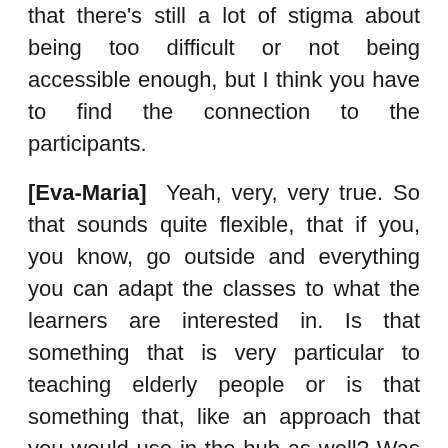that there's still a lot of stigma about being too difficult or not being accessible enough, but I think you have to find the connection to the participants.
[Eva-Maria] Yeah, very, very true. So that sounds quite flexible, that if you, you know, go outside and everything you can adapt the classes to what the learners are interested in. Is that something that is very particular to teaching elderly people or is that something that, like an approach that you would use in the hub as well? Was that something special about teaching the elderly?
[Robbie] Well just in terms of like, I guess, one of the key considerations for non-pharmaceutical interventions in general about this person-centered approach. For them to be meaningful, you need to try and connect with the individual. So I think that's what we've really